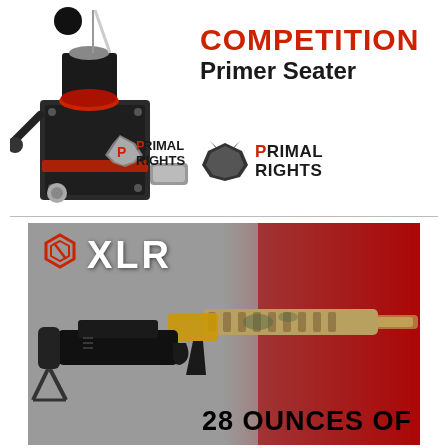[Figure (photo): Competition Primer Seater device by Primal Rights — a mechanical reloading press tool with a black body, red accents, handle, and rod with ball on top. Primal Rights logo with wolf head icon appears in the lower right of the image.]
COMPETITION Primer Seater
[Figure (photo): XLR Industries advertisement showing a rifle chassis/stock system. XLR logo (geometric icon + 'XLR' text) in upper left on gray background. A rifle with tactical chassis in camouflage/tan pattern on red background on the right. Bottom text reads '28 OUNCES OF'.]
28 OUNCES OF